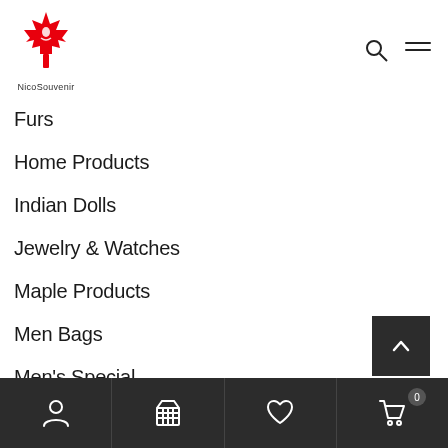NicoSouvenir logo with search and menu icons
Furs
Home Products
Indian Dolls
Jewelry & Watches
Maple Products
Men Bags
Men's Special
Bottom navigation bar with account, basket, wishlist, and cart (0) icons